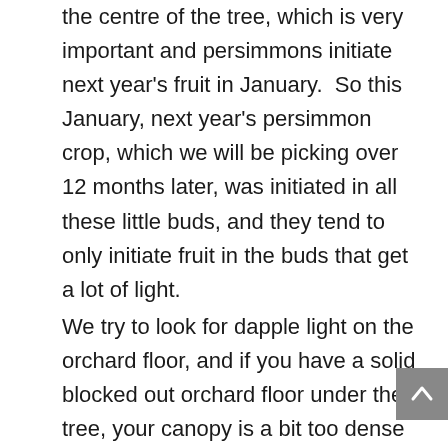the centre of the tree, which is very important and persimmons initiate next year's fruit in January.  So this January, next year's persimmon crop, which we will be picking over 12 months later, was initiated in all these little buds, and they tend to only initiate fruit in the buds that get a lot of light.
We try to look for dapple light on the orchard floor, and if you have a solid blocked out orchard floor under the tree, your canopy is a bit too dense for a commercial orchard.  In a home garden, it is not so critical.  We can get up to 250 fruit per tree.  We don't wax the fruit for